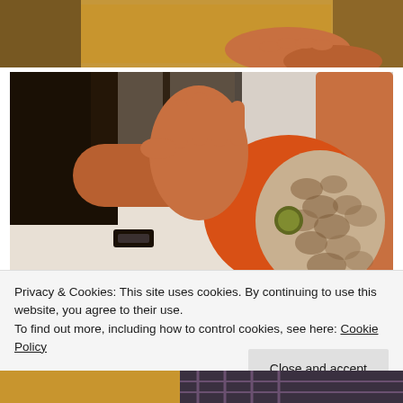[Figure (photo): Top portion of a fashion photo showing a person's hands resting on yellow/mustard cushions, partially cropped at top]
[Figure (photo): Main fashion photo showing a person holding an orange and snakeskin-patterned bag/clutch with a wrist strap, wearing a dark top, with a black bracelet visible on their wrist]
Privacy & Cookies: This site uses cookies. By continuing to use this website, you agree to their use.
To find out more, including how to control cookies, see here: Cookie Policy
Close and accept
[Figure (photo): Bottom portion of a fashion photo showing yellow/mustard and plaid fabric, partially cropped]